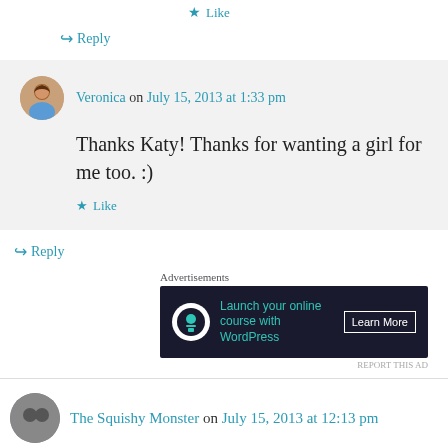★ Like
↪ Reply
Veronica on July 15, 2013 at 1:33 pm
Thanks Katy! Thanks for wanting a girl for me too. :)
★ Like
↪ Reply
Advertisements
[Figure (other): Advertisement banner: Launch your online course with WordPress - Learn More]
REPORT THIS AD
The Squishy Monster on July 15, 2013 at 12:13 pm